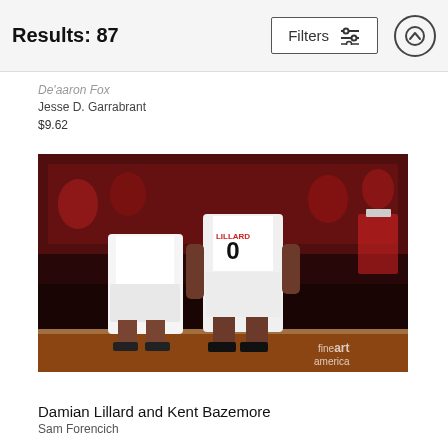Results: 87
Filters
De'aaron Fox
Jesse D. Garrabrant
$9.62
[Figure (photo): NBA basketball photo showing Damian Lillard (#0, Portland Trail Blazers) and Kent Bazemore on court with crowd in background. Fine art america watermark visible.]
Damian Lillard and Kent Bazemore
Sam Forencich